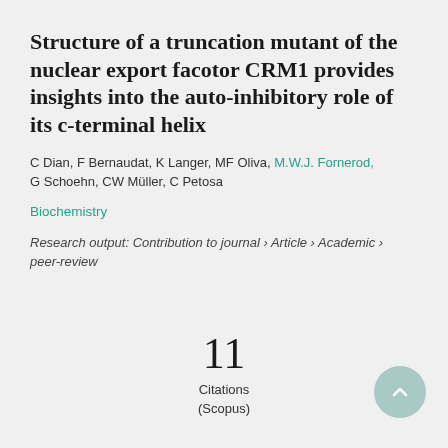Structure of a truncation mutant of the nuclear export facotor CRM1 provides insights into the auto-inhibitory role of its c-terminal helix
C Dian, F Bernaudat, K Langer, MF Oliva, M.W.J. Fornerod, G Schoehn, CW Müller, C Petosa
Biochemistry
Research output: Contribution to journal › Article › Academic › peer-review
11
Citations
(Scopus)